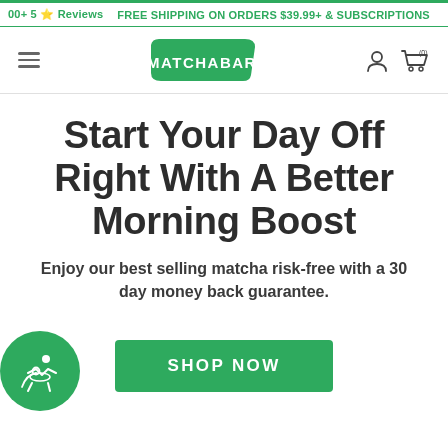00+ 5 ⭐ Reviews   FREE SHIPPING ON ORDERS $39.99+ & SUBSCRIPTIONS
[Figure (logo): MatchaBar logo – green banner shape with white text MATCHABAR]
Start Your Day Off Right With A Better Morning Boost
Enjoy our best selling matcha risk-free with a 30 day money back guarantee.
SHOP NOW